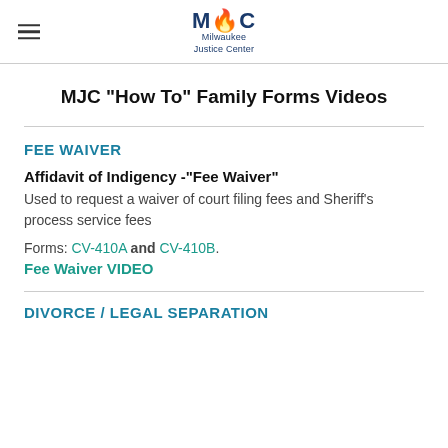MJC Milwaukee Justice Center
MJC "How To" Family Forms Videos
FEE WAIVER
Affidavit of Indigency -"Fee Waiver"
Used to request a waiver of court filing fees and Sheriff's process service fees
Forms: CV-410A and CV-410B.
Fee Waiver VIDEO
DIVORCE / LEGAL SEPARATION